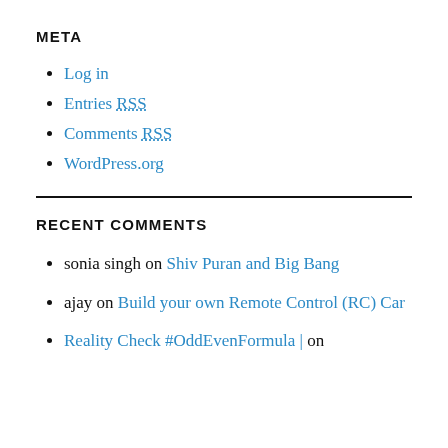META
Log in
Entries RSS
Comments RSS
WordPress.org
RECENT COMMENTS
sonia singh on Shiv Puran and Big Bang
ajay on Build your own Remote Control (RC) Car
Reality Check #OddEvenFormula | on